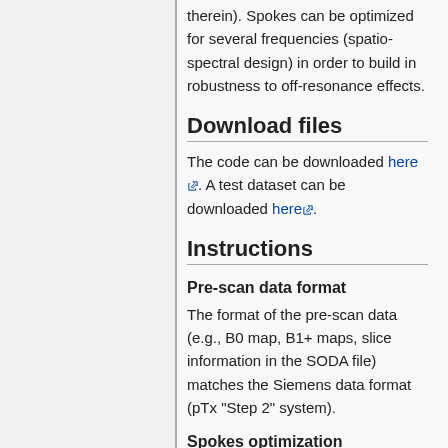therein). Spokes can be optimized for several frequencies (spatio-spectral design) in order to build in robustness to off-resonance effects.
Download files
The code can be downloaded here. A test dataset can be downloaded here.
Instructions
Pre-scan data format
The format of the pre-scan data (e.g., B0 map, B1+ maps, slice information in the SODA file) matches the Siemens data format (pTx "Step 2" system).
Spokes optimization
Unzip the code folder and add it to your path. Unzip the data folder and run the